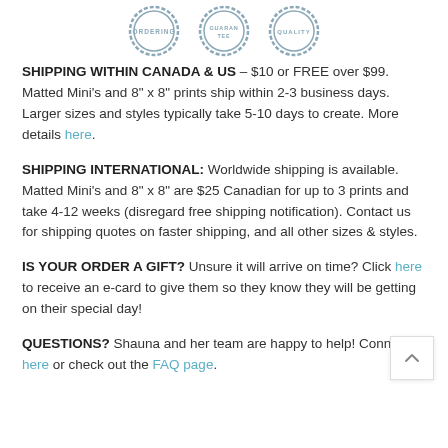[Figure (illustration): Three circular badge/seal icons partially visible at top: 'ORDERING', 'GUARANTEE', and a third quality seal, all in grayish-blue stamp style]
SHIPPING WITHIN CANADA & US – $10 or FREE over $99. Matted Mini's and 8" x 8" prints ship within 2-3 business days. Larger sizes and styles typically take 5-10 days to create. More details here.
SHIPPING INTERNATIONAL: Worldwide shipping is available. Matted Mini's and 8" x 8" are $25 Canadian for up to 3 prints and take 4-12 weeks (disregard free shipping notification). Contact us for shipping quotes on faster shipping, and all other sizes & styles.
IS YOUR ORDER A GIFT? Unsure it will arrive on time? Click here to receive an e-card to give them so they know they will be getting on their special day!
QUESTIONS? Shauna and her team are happy to help! Connect here or check out the FAQ page.